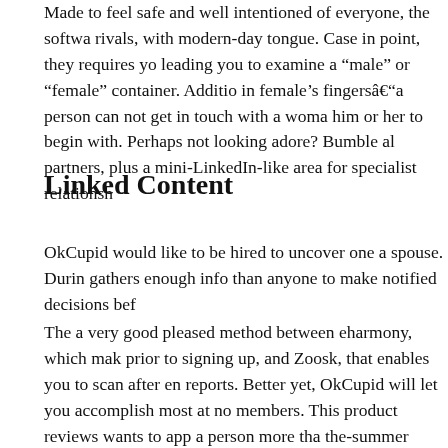Made to feel safe and well intentioned of everyone, the softwa rivals, with modern-day tongue. Case in point, they requires yo leading you to examine a “male” or “female” container. Additio in female’s fingersâ€“a person can not get in touch with a woma him or her to begin with. Perhaps not looking adore? Bumble al partners, plus a mini-LinkedIn-like area for specialist relationsh
Linked Content
OkCupid would like to be hired to uncover one a spouse. Durin gathers enough info than anyone to make notified decisions bef
The a very good pleased method between eharmony, which mak prior to signing up, and Zoosk, that enables you to scan after en reports. Better yet, OkCupid will let you accomplish most at no members. This product reviews wants to app a person more tha the-summer condition. That overview, you are going to need be must most readily useful out a comprehensive analyze, and now photograph of your promising fits until you shell out a subscript